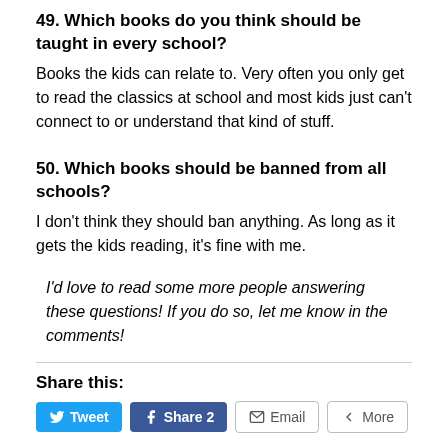49. Which books do you think should be taught in every school?
Books the kids can relate to. Very often you only get to read the classics at school and most kids just can't connect to or understand that kind of stuff.
50. Which books should be banned from all schools?
I don't think they should ban anything. As long as it gets the kids reading, it's fine with me.
I'd love to read some more people answering these questions! If you do so, let me know in the comments!
Share this: